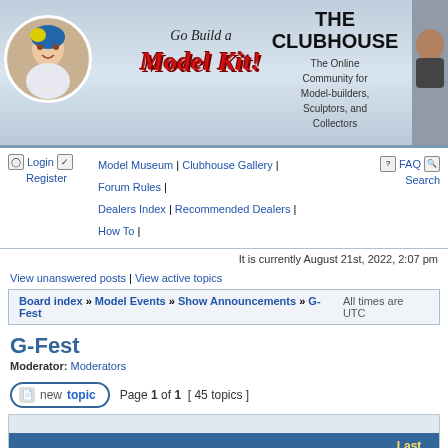[Figure (screenshot): Website header banner with logo: Go Build a Model Kit! and THE CLUBHOUSE text, kid image circle on left, avatar on right]
Login  Register  |  Model Museum | Clubhouse Gallery | Forum Rules | Dealers Index | Recommended Dealers | How To |  |  FAQ  Search
It is currently August 21st, 2022, 2:07 pm
View unanswered posts | View active topics
Board index » Model Events » Show Announcements » G-Fest    All times are UTC
G-Fest
Moderator: Moderators
new topic   Page 1 of 1  [ 45 topics ]
| Topics | Author | Replies | Views | Last post |
| --- | --- | --- | --- | --- |
| Announcements |  |  |  |  |
| Pics not showing?! ... |  |  |  |  |